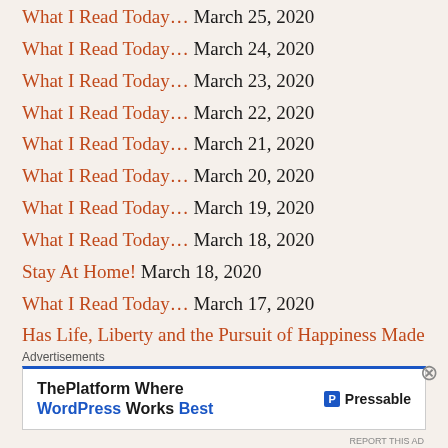What I Read Today… March 25, 2020
What I Read Today… March 24, 2020
What I Read Today… March 23, 2020
What I Read Today… March 22, 2020
What I Read Today… March 21, 2020
What I Read Today… March 20, 2020
What I Read Today… March 19, 2020
What I Read Today… March 18, 2020
Stay At Home! March 18, 2020
What I Read Today… March 17, 2020
Has Life, Liberty and the Pursuit of Happiness Made Us Selfish? March 16, 2020
What I Read Today… March 16, 2020
Advertisements
[Figure (other): Pressable advertisement: ThePlatform Where WordPress Works Best]